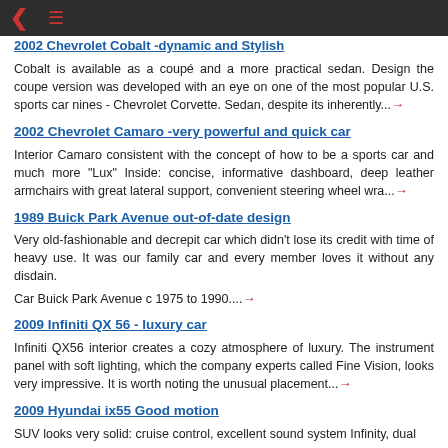← ≡ (navigation bar)
2002 Chevrolet Cobalt -dynamic and stylish (partial link at top)
Cobalt is available as a coupé and a more practical sedan. Design the coupe version was developed with an eye on one of the most popular U.S. sports car nines - Chevrolet Corvette. Sedan, despite its inherently... →
2002 Chevrolet Camaro -very powerful and quick car
Interior Camaro consistent with the concept of how to be a sports car and much more "Lux" Inside: concise, informative dashboard, deep leather armchairs with great lateral support, convenient steering wheel wra... →
1989 Buick Park Avenue out-of-date design
Very old-fashionable and decrepit car which didn't lose its credit with time of heavy use. It was our family car and every member loves it without any disdain.
Car Buick Park Avenue c 1975 to 1990.... →
2009 Infiniti QX 56 - luxury car
Infiniti QX56 interior creates a cozy atmosphere of luxury. The instrument panel with soft lighting, which the company experts called Fine Vision, looks very impressive. It is worth noting the unusual placement... →
2009 Hyundai ix55 Good motion
SUV looks very solid: cruise control, excellent sound system Infinity, dual...